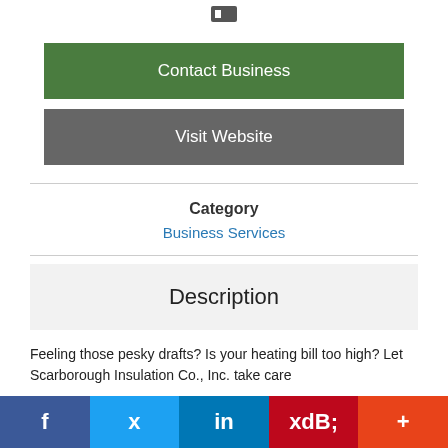[Figure (other): Small icon at top center]
Contact Business
Visit Website
Category
Business Services
Description
Feeling those pesky drafts? Is your heating bill too high? Let Scarborough Insulation Co., Inc. take care
[Figure (other): Social share bar at bottom with Facebook, Twitter, LinkedIn, Pinterest, and More buttons]